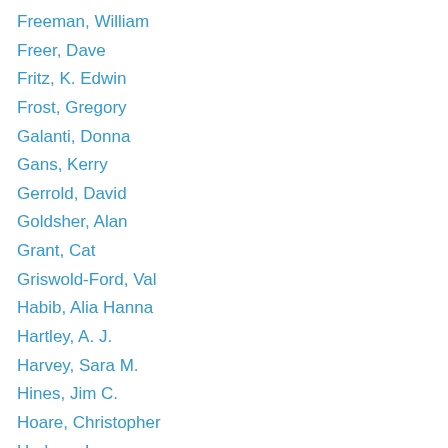Freeman, William
Freer, Dave
Fritz, K. Edwin
Frost, Gregory
Galanti, Donna
Gans, Kerry
Gerrold, David
Goldsher, Alan
Grant, Cat
Griswold-Ford, Val
Habib, Alia Hanna
Hartley, A. J.
Harvey, Sara M.
Hines, Jim C.
Hoare, Christopher
Hodges, Larry
Huff, Tanya
Hunt, Walter H.
Jacobs, J. Richard
James, Tommy